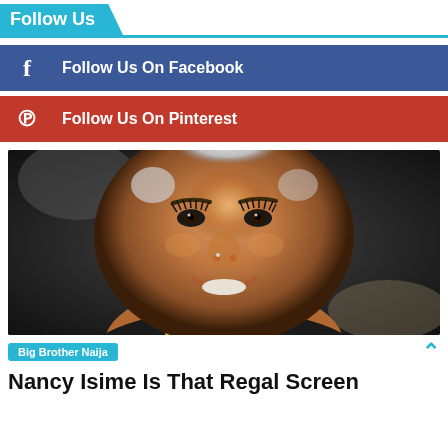Follow Us
Follow Us On Facebook
Follow Us On Pinterest
[Figure (photo): Close-up portrait of a young woman with short bleached hair, dramatic eye makeup, nose ring, and a bright smile. She appears to be wearing dark clothing. Background is blurred.]
Big Brother Naija
Nancy Isime Is That Regal Screen